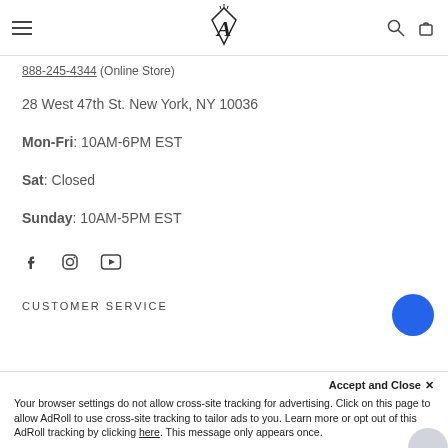Navigation bar with hamburger menu, logo, search and cart icons
888-245-4344 (Online Store)
28 West 47th St. New York, NY 10036
Mon-Fri: 10AM-6PM EST
Sat: Closed
Sunday: 10AM-5PM EST
[Figure (infographic): Social media icons: Facebook, Instagram, YouTube]
CUSTOMER SERVICE
Accept and Close ×
Your browser settings do not allow cross-site tracking for advertising. Click on this page to allow AdRoll to use cross-site tracking to tailor ads to you. Learn more or opt out of this AdRoll tracking by clicking here. This message only appears once.